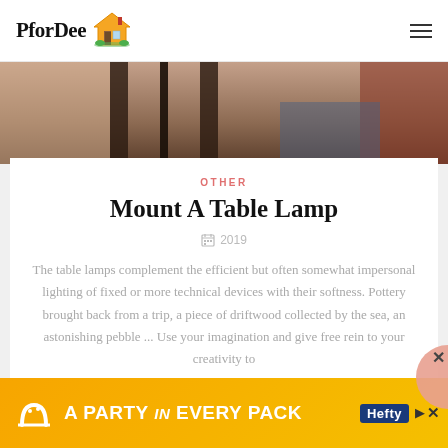PforDee
[Figure (photo): Partial view of a room interior with dark furniture elements, warm brown tones]
OTHER
Mount A Table Lamp
2019
The table lamps complement the efficient but often somewhat impersonal lighting of fixed or more technical devices with their softness. Pottery brought back from a trip, a piece of driftwood collected by the sea, an astonishing pebble ... Use your imagination and give free rein to your creativity to
[Figure (infographic): Advertisement banner: A PARTY in EVERY PACK, Hefty brand]